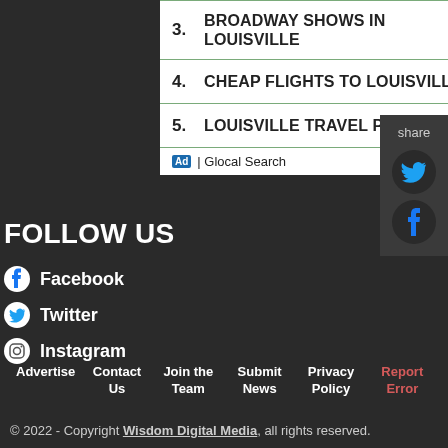3. BROADWAY SHOWS IN LOUISVILLE
4. CHEAP FLIGHTS TO LOUISVILLE
5. LOUISVILLE TRAVEL PACKAGES
Ad | Glocal Search
FOLLOW US
Facebook
Twitter
Instagram
share
Advertise   Contact Us   Join the Team   Submit News   Privacy Policy   Report Error
© 2022 - Copyright Wisdom Digital Media, all rights reserved.